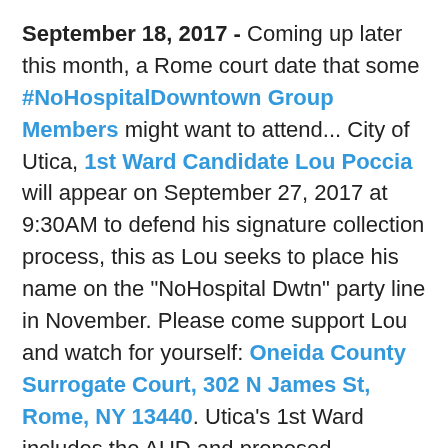September 18, 2017 - Coming up later this month, a Rome court date that some #NoHospitalDowntown Group Members might want to attend... City of Utica, 1st Ward Candidate Lou Poccia will appear on September 27, 2017 at 9:30AM to defend his signature collection process, this as Lou seeks to place his name on the "NoHospital Dwtn" party line in November. Please come support Lou and watch for yourself: Oneida County Surrogate Court, 302 N James St, Rome, NY 13440. Utica's 1st Ward includes the AUD and proposed downtown hospital location, here's the Utica, NY 1st Ward Map.